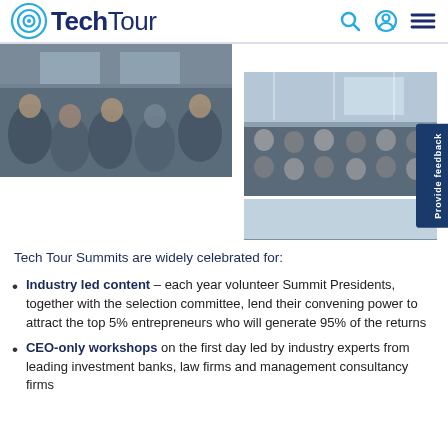TechTour
[Figure (photo): Two event photos: left shows a group of people seated in a circle at a summit; right shows two images of a larger conference audience seated in rows in a modern venue.]
Tech Tour Summits are widely celebrated for:
Industry led content – each year volunteer Summit Presidents, together with the selection committee, lend their convening power to attract the top 5% entrepreneurs who will generate 95% of the returns
CEO-only workshops on the first day led by industry experts from leading investment banks, law firms and management consultancy firms